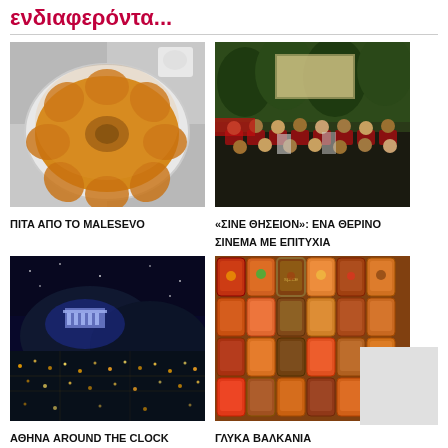ενδιαφερόντα...
[Figure (photo): A round pastry pie from Malesevo, viewed from above on a plate]
ΠΙΤΑ ΑΠΟ ΤΟ MALESEVO
[Figure (photo): Outdoor cinema Thisseion with audience seated in garden at night]
«ΣΙΝΕ ΘΗΣΕΙΟΝ»: ΕΝΑ ΘΕΡΙΝΟ ΣΙΝΕΜΑ ΜΕ ΕΠΙΤΥΧΙΑ
[Figure (photo): Athens city aerial view at night with Acropolis lit up]
ΑΘΗΝΑ AROUND THE CLOCK
[Figure (photo): Colorful jars of preserved vegetables and sweets at a Balkan market]
ΓΛΥΚΑ ΒΑΛΚΑΝΙΑ